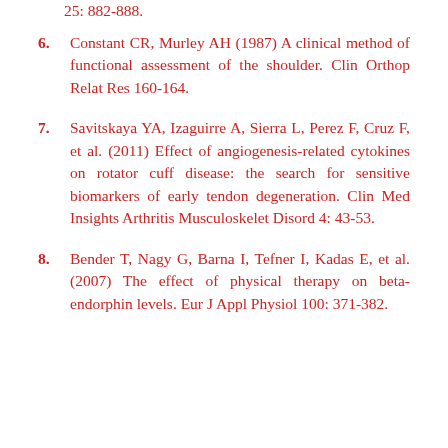25: 882-888.
6. Constant CR, Murley AH (1987) A clinical method of functional assessment of the shoulder. Clin Orthop Relat Res 160-164.
7. Savitskaya YA, Izaguirre A, Sierra L, Perez F, Cruz F, et al. (2011) Effect of angiogenesis-related cytokines on rotator cuff disease: the search for sensitive biomarkers of early tendon degeneration. Clin Med Insights Arthritis Musculoskelet Disord 4: 43-53.
8. Bender T, Nagy G, Barna I, Tefner I, Kadas E, et al. (2007) The effect of physical therapy on beta-endorphin levels. Eur J Appl Physiol 100: 371-382.